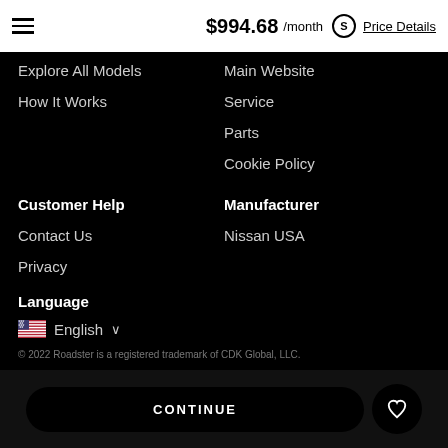$994.68 /month  Price Details
Explore All Models
How It Works
Main Website
Service
Parts
Cookie Policy
Customer Help
Manufacturer
Contact Us
Privacy
Nissan USA
Language
English
© 2022 Roadster is a registered trademark of CDK Global, LLC.
CONTINUE